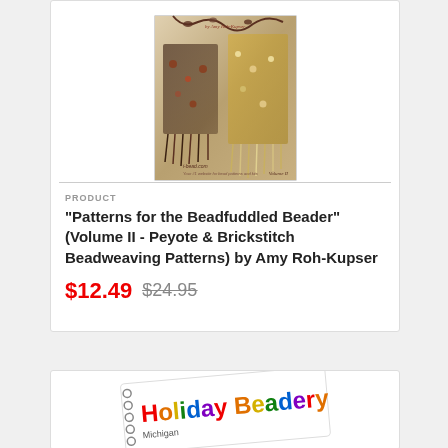[Figure (photo): Book cover of 'Patterns for the Beadfuddled Beader' Volume II showing beaded jewelry pieces]
PRODUCT
"Patterns for the Beadfuddled Beader" (Volume II - Peyote & Brickstitch Beadweaving Patterns) by Amy Roh-Kupser
$12.49  $24.95
[Figure (logo): Holiday Beadery logo on a tilted card with spiral binding, text reads Holiday Beadery and Michigan below]